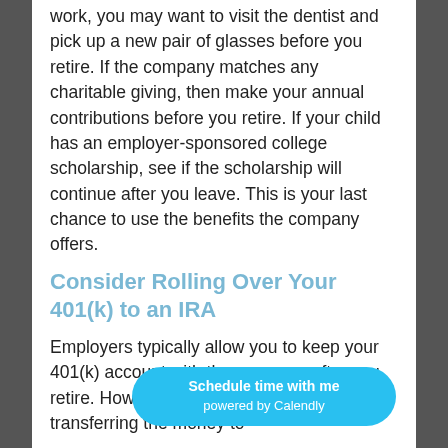work, you may want to visit the dentist and pick up a new pair of glasses before you retire. If the company matches any charitable giving, then make your annual contributions before you retire. If your child has an employer-sponsored college scholarship, see if the scholarship will continue after you leave. This is your last chance to use the benefits the company offers.
Consider Rolling Over Your 401(k) to an IRA
Employers typically allow you to keep your 401(k) account with the company after you retire. How better off transferring the money to
[Figure (other): Calendly scheduling button overlay: 'Schedule time with me powered by Calendly']